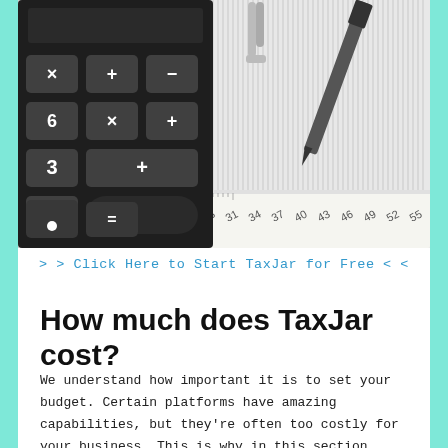[Figure (photo): Close-up photo of a dark calculator with arithmetic operation keys (+, -, ×, =) next to a ruler showing numbers 25 through 58, with a pen and paper clip in the background]
> > Click Here to Start TaxJar for Free < <
How much does TaxJar cost?
We understand how important it is to set your budget. Certain platforms have amazing capabilities, but they're often too costly for your business. This is why in this section we'll take a look at